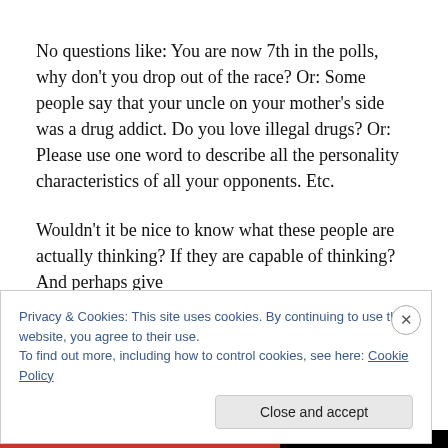No questions like: You are now 7th in the polls, why don't you drop out of the race? Or: Some people say that your uncle on your mother's side was a drug addict. Do you love illegal drugs? Or: Please use one word to describe all the personality characteristics of all your opponents. Etc.
Wouldn't it be nice to know what these people are actually thinking? If they are capable of thinking? And perhaps give
Privacy & Cookies: This site uses cookies. By continuing to use this website, you agree to their use.
To find out more, including how to control cookies, see here: Cookie Policy
Close and accept